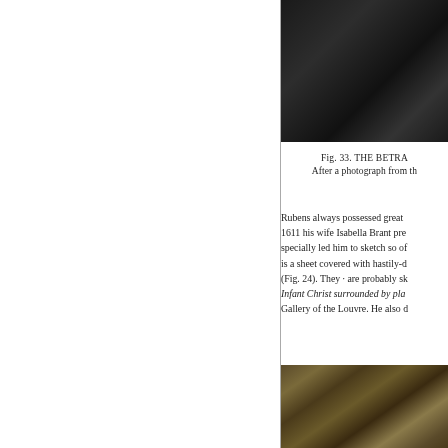[Figure (photo): Partial dark photograph at top right, appears to be artwork or painting, cropped at top edge of page]
Fig. 33. THE BETRA[YAL]
After a photograph from th[e original]
Rubens always possessed great [talent and in] 1611 his wife Isabella Brant pre[sented him] specially led him to sketch so of[ten. There] is a sheet covered with hastily-d[rawn heads] (Fig. 24). They · are probably sk[etches for the] Infant Christ surrounded by pla[ying children] Gallery of the Louvre. He also d[...]
[Figure (photo): Partial photograph at bottom right showing what appears to be a painting with figures, partial view]